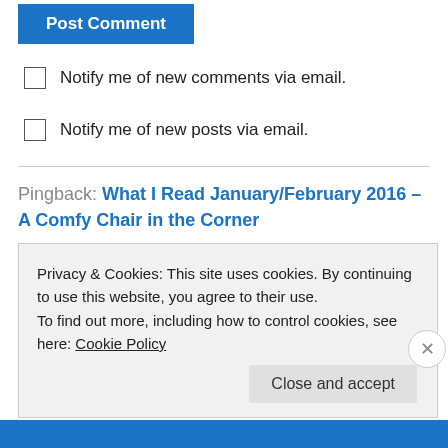Post Comment
Notify me of new comments via email.
Notify me of new posts via email.
Pingback: What I Read January/February 2016 – A Comfy Chair in the Corner
Privacy & Cookies: This site uses cookies. By continuing to use this website, you agree to their use.
To find out more, including how to control cookies, see here: Cookie Policy
Close and accept